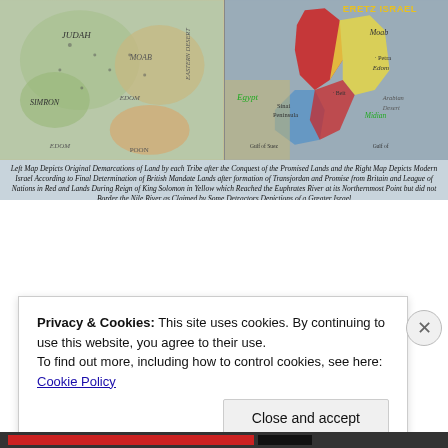[Figure (map): Two maps side by side. Left map shows original tribal demarcations of land (Judah, Simron, Moab, Edom regions). Right map shows modern Israel with colored regions: red for British Mandate lands, yellow for lands during reign of King Solomon, labeled with ERETZ ISRAEL, showing Egypt, Sinai Peninsula, Moab, Midian, Arabian Desert, and surrounding regions.]
Left Map Depicts Original Demarcations of Land by each Tribe after the Conquest of the Promised Lands and the Right Map Depicts Modern Israel According to Final Determination of British Mandate Lands after formation of Transjordan and Promise from Britain and League of Nations in Red and Lands During Reign of King Solomon in Yellow which Reached the Euphrates River at its Northernmost Point but did not Border the Nile River as Claimed by Some Detractors Depictions of a Greater Israel
Privacy & Cookies: This site uses cookies. By continuing to use this website, you agree to their use.
To find out more, including how to control cookies, see here: Cookie Policy